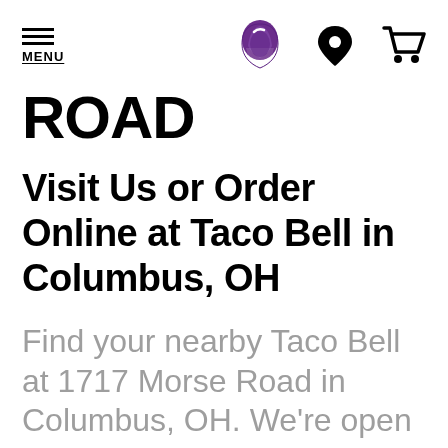MENU
ROAD
Visit Us or Order Online at Taco Bell in Columbus, OH
Find your nearby Taco Bell at 1717 Morse Road in Columbus, OH. We're open